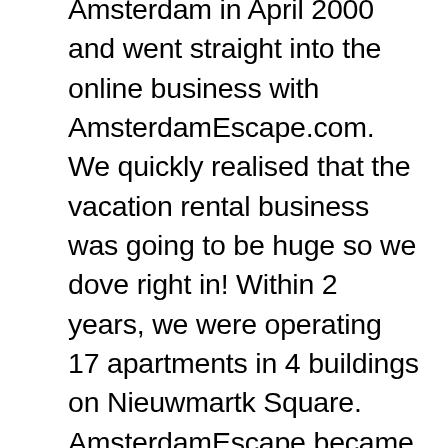Amsterdam in April 2000 and went straight into the online business with AmsterdamEscape.com. We quickly realised that the vacation rental business was going to be huge so we dove right in! Within 2 years, we were operating 17 apartments in 4 buildings on Nieuwmartk Square. AmsterdamEscape became famous as a quirky, fun place to stay and we operated at a 95-100% occupancy 12 months a year. Our secret was to be outstanding both in style and in service. Each apartment had its own name, theme, was decorated in vibrant colours and came with complimentary mini bar, PlayStation and a PC which had a direct dial concierge link to our office